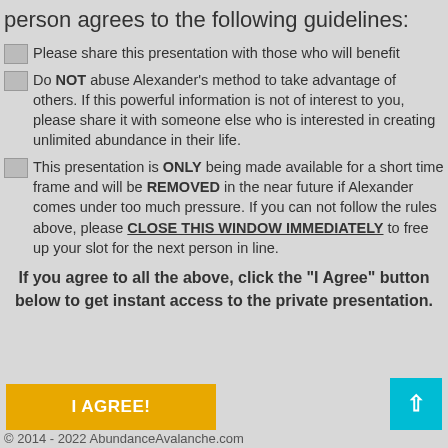person agrees to the following guidelines:
Please share this presentation with those who will benefit
Do NOT abuse Alexander's method to take advantage of others. If this powerful information is not of interest to you, please share it with someone else who is interested in creating unlimited abundance in their life.
This presentation is ONLY being made available for a short time frame and will be REMOVED in the near future if Alexander comes under too much pressure. If you can not follow the rules above, please CLOSE THIS WINDOW IMMEDIATELY to free up your slot for the next person in line.
If you agree to all the above, click the "I Agree" button below to get instant access to the private presentation.
© 2014 - 2022 AbundanceAvalanche.com